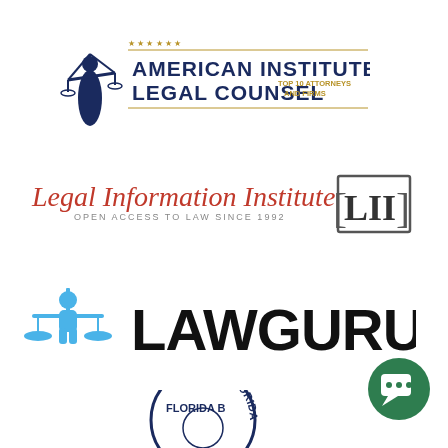[Figure (logo): American Institute of Legal Counsel logo with Lady Justice figure and text 'AMERICAN INSTITUTE OF LEGAL COUNSEL TOP 10 ATTORNEYS AND FIRMS']
[Figure (logo): Legal Information Institute logo with red text 'Legal Information Institute' subtitle 'OPEN ACCESS TO LAW SINCE 1992' and bracketed LII monogram]
[Figure (logo): LawGuru logo with blue scales of justice figure and bold black text 'LAWGURU']
[Figure (logo): Green circular chat bubble icon (bottom right)]
[Figure (logo): Florida Bar circular seal logo (partially visible at bottom center)]